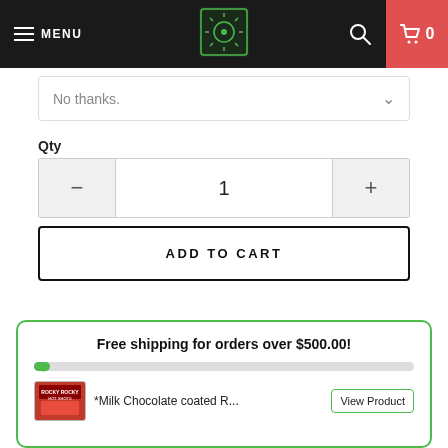MENU | [logo] | [search] | Cart 0
No thanks.
Qty
1
ADD TO CART
Free shipping for orders over $500.00!
*Milk Chocolate coated R...
View Product